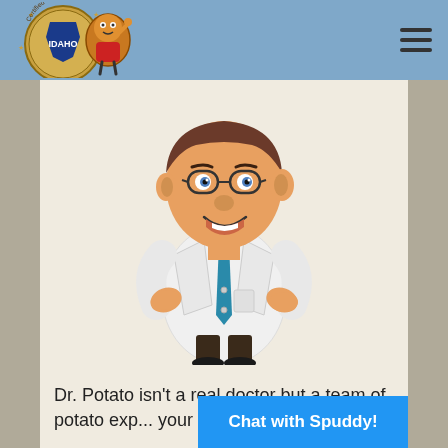[Figure (logo): Certified Idaho Potatoes logo with potato mascot character giving thumbs up]
[Figure (illustration): Cartoon illustration of Dr. Potato character: a smiling man in a white lab coat with a blue tie, hands on hips, dark hair, glasses]
Dr. Potato isn't a real doctor but a team of potato exp... your potato q...
[Figure (other): Chat with Spuddy! button in blue]